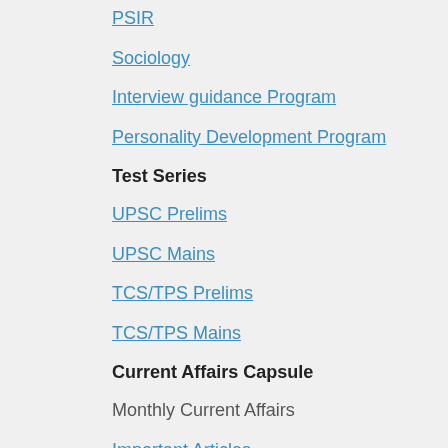PSIR
Sociology
Interview guidance Program
Personality Development Program
Test Series
UPSC Prelims
UPSC Mains
TCS/TPS Prelims
TCS/TPS Mains
Current Affairs Capsule
Monthly Current Affairs
Important Articles
Tripura News for TCS/TPS
Mains Ans. Writing
UPSC CSE Mains